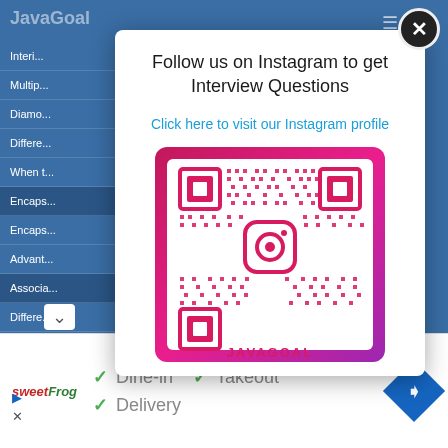[Figure (screenshot): Screenshot of JavaGoal website with a modal popup overlay. The background shows the JavaGoal website navigation menu in blue. A white modal dialog is shown with text asking users to follow on Instagram to get Interview Questions, an Instagram link, and a QR code with pink/purple gradient border and the Instagram logo. A close button (X) is in the top-right corner. At the bottom is an advertisement bar for sweetFrog showing Dine-in, Takeout, and Delivery options with checkmarks, and a blue navigation diamond icon.]
Follow us on Instagram to get Interview Questions
Click here to visit our Instagram profile
JAVAGOAL
Dine-in  ✓ Takeout
✓ Delivery